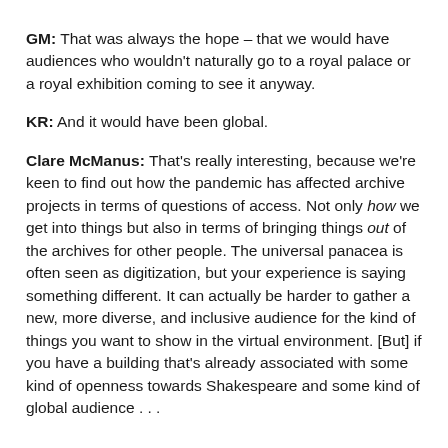GM: That was always the hope – that we would have audiences who wouldn't naturally go to a royal palace or a royal exhibition coming to see it anyway.
KR: And it would have been global.
Clare McManus: That's really interesting, because we're keen to find out how the pandemic has affected archive projects in terms of questions of access. Not only how we get into things but also in terms of bringing things out of the archives for other people. The universal panacea is often seen as digitization, but your experience is saying something different. It can actually be harder to gather a new, more diverse, and inclusive audience for the kind of things you want to show in the virtual environment. [But] if you have a building that's already associated with some kind of openness towards Shakespeare and some kind of global audience . . .